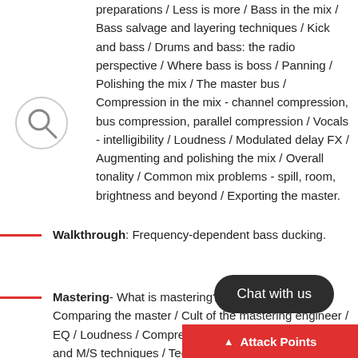preparations / Less is more / Bass in the mix / Bass salvage and layering techniques / Kick and bass / Drums and bass: the radio perspective / Where bass is boss / Panning / Polishing the mix / The master bus / Compression in the mix - channel compression, bus compression, parallel compression / Vocals - intelligibility / Loudness / Modulated delay FX / Augmenting and polishing the mix / Overall tonality / Common mix problems - spill, room, brightness and beyond / Exporting the master.
[Figure (illustration): Search/magnifying glass icon inside a circle]
Walkthrough: Frequency-dependent bass ducking.
Mastering- What is mastering? / The home master / Comparing the master / Cult of the mastering engineer / EQ / Loudness / Compression / Bass and M/S techniques / Technic...
Chat with us
Attack Points